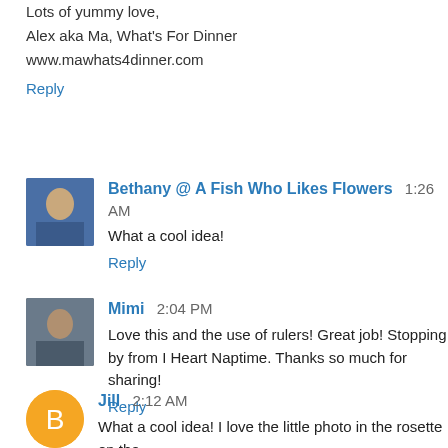Lots of yummy love,
Alex aka Ma, What's For Dinner
www.mawhats4dinner.com
Reply
Bethany @ A Fish Who Likes Flowers  1:26 AM
What a cool idea!
Reply
Mimi  2:04 PM
Love this and the use of rulers! Great job! Stopping by from I Heart Naptime. Thanks so much for sharing!
Reply
Jill  2:12 AM
What a cool idea! I love the little photo in the rosette on the